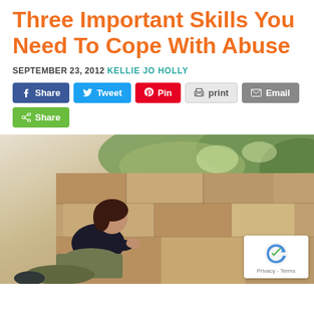Three Important Skills You Need To Cope With Abuse
SEPTEMBER 23, 2012 KELLIE JO HOLLY
[Figure (other): Social share buttons: Facebook Share, Twitter Tweet, Pinterest Pin, print, Email, and a generic Share button]
[Figure (photo): A young woman with dark hair sitting against a large rock wall outdoors, wearing a black top and olive/green pants, looking down. The background shows rocky terrain and green foliage. A reCAPTCHA badge is visible in the bottom-right corner of the image.]